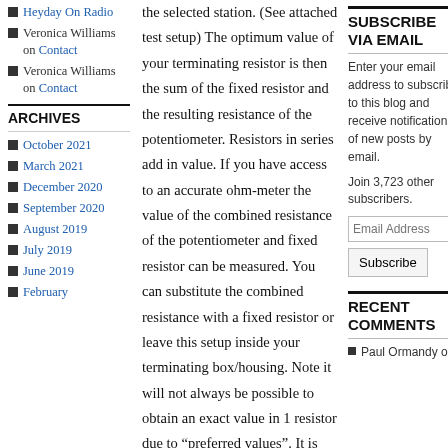Heyday On Radio
Veronica Williams on Contact
Veronica Williams on Contact
ARCHIVES
October 2021
March 2021
December 2020
September 2020
August 2019
July 2019
June 2019
February
the selected station. (See attached test setup) The optimum value of your terminating resistor is then the sum of the fixed resistor and the resulting resistance of the potentiometer. Resistors in series add in value. If you have access to an accurate ohm-meter the value of the combined resistance of the potentiometer and fixed resistor can be measured. You can substitute the combined resistance with a fixed resistor or leave this setup inside your terminating box/housing. Note it will not always be possible to obtain an exact value in 1 resistor due to “preferred values”. It is however possible to choose a 2 resistor combination to achieve the
SUBSCRIBE VIA EMAIL
Enter your email address to subscribe to this blog and receive notifications of new posts by email.
Join 3,723 other subscribers.
Email Address
Subscribe
RECENT COMMENTS
Paul Ormandy on